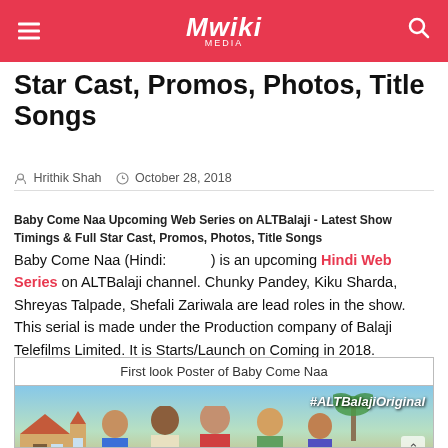Mwiki
Star Cast, Promos, Photos, Title Songs
Hrithik Shah   October 28, 2018
Baby Come Naa Upcoming Web Series on ALTBalaji - Latest Show Timings & Full Star Cast, Promos, Photos, Title Songs
Baby Come Naa (Hindi: ) is an upcoming Hindi Web Series on ALTBalaji channel. Chunky Pandey, Kiku Sharda, Shreyas Talpade, Shefali Zariwala are lead roles in the show. This serial is made under the Production company of Balaji Telefilms Limited. It is Starts/Launch on Coming in 2018.
First look Poster of Baby Come Naa
[Figure (photo): First look poster of Baby Come Naa ALTBalaji Original web series showing cast members with a house and trees in background, with #ALTBalajiOriginal text overlay]